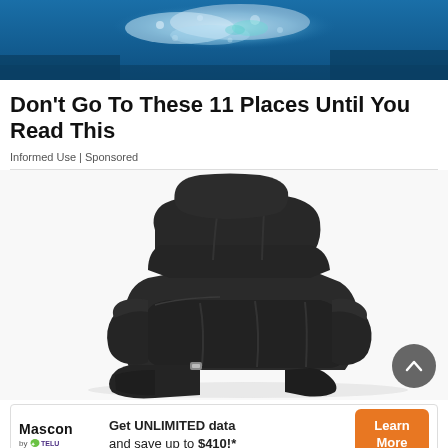[Figure (photo): Aerial/underwater photo of a reef or ocean scene with blue water and coral/foam visible from above.]
Don't Go To These 11 Places Until You Read This
Informed Use | Sponsored
[Figure (photo): Black leather recliner chair with footrest extended, shown on white background.]
[Figure (infographic): Advertisement banner: Mascon by Telus logo on left, text 'Get UNLIMITED data and save up to $410!*' in center, orange 'Learn More' button on right.]